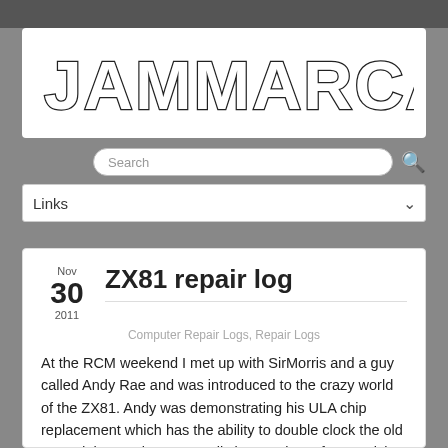JAMMARCADE.NET
Search
Links
ZX81 repair log
Nov 30 2011
Computer Repair Logs, Repair Logs
At the RCM weekend I met up with SirMorris and a guy called Andy Rae and was introduced to the crazy world of the ZX81. Andy was demonstrating his ULA chip replacement which has the ability to double clock the old 81 and the results were really impressive. After a quick chat I managed to secure one of these